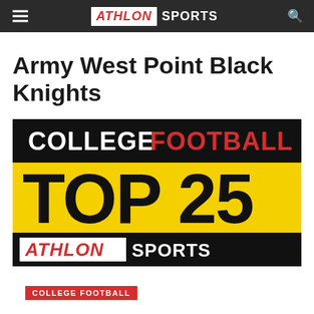ATHLON SPORTS
Army West Point Black Knights
[Figure (illustration): College Football Top 25 Athlon Sports promotional badge/logo image with black banner reading COLLEGE FOOTBALL in white and red, yellow background with TOP 25 in bold black text, and black banner at bottom reading ATHLON SPORTS in red and white.]
COLLEGE FOOTBALL